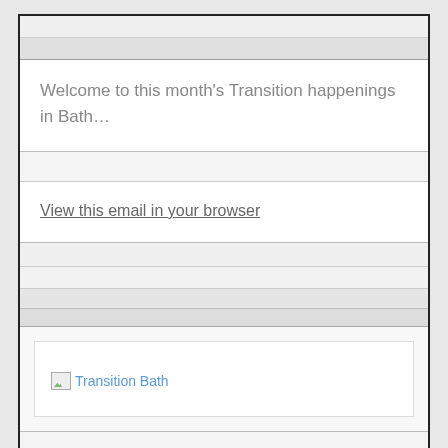Welcome to this month's Transition happenings in Bath…
View this email in your browser
[Figure (other): Broken image placeholder with label 'Transition Bath']